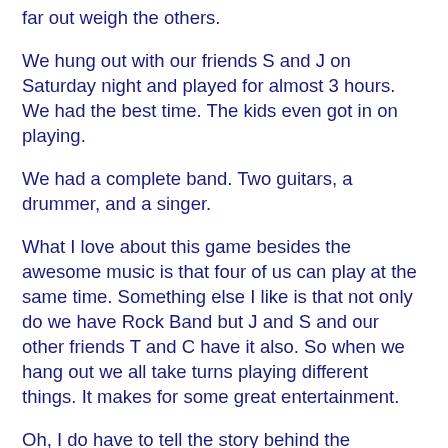far out weigh the others.
We hung out with our friends S and J on Saturday night and played for almost 3 hours. We had the best time. The kids even got in on playing.
We had a complete band. Two guitars, a drummer, and a singer.
What I love about this game besides the awesome music is that four of us can play at the same time. Something else I like is that not only do we have Rock Band but J and S and our other friends T and C have it also. So when we hang out we all take turns playing different things. It makes for some great entertainment.
Oh, I do have to tell the story behind the purchase of the new Rock Band 2, because things like this N-E-V-E-R happen to me. Never, ever, never.
Hubs purchased the new game on line. Since we have Rock Band 1 we only needed the disc for the new game. He did in